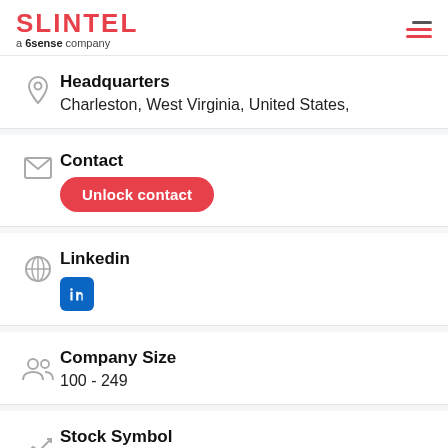SLINTEL a 6sense company
Headquarters
Charleston, West Virginia, United States,
Contact
Unlock contact
Linkedin
[Figure (logo): LinkedIn icon - blue square with 'in' logo]
Company Size
100 - 249
Stock Symbol